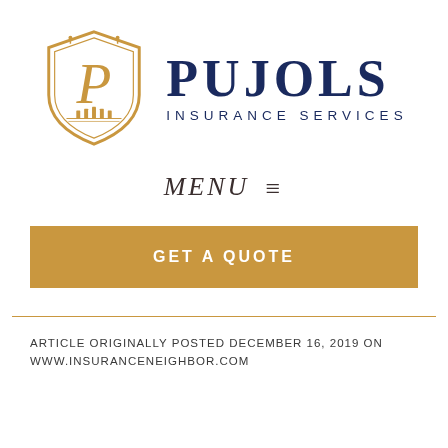[Figure (logo): Pujols Insurance Services logo: a gold shield with a decorative 'P' letter inside, next to the text 'PUJOLS' in large navy serif font and 'INSURANCE SERVICES' in smaller navy sans-serif font below.]
MENU ≡
GET A QUOTE
ARTICLE ORIGINALLY POSTED DECEMBER 16, 2019 ON WWW.INSURANCENEIGHBOR.COM